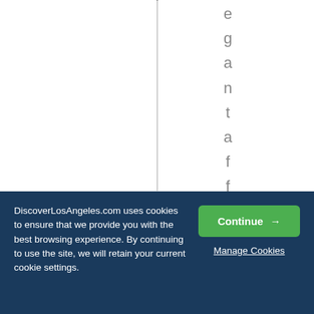[Figure (other): White page area with a vertical dotted line dividing it into two columns. In the right column, the letters 'e g a n t a f f a i r s t o m a s' are displayed vertically, one letter per line, in gray.]
DiscoverLosAngeles.com uses cookies to ensure that we provide you with the best browsing experience. By continuing to use the site, we will retain your current cookie settings.
Continue →
Manage Cookies